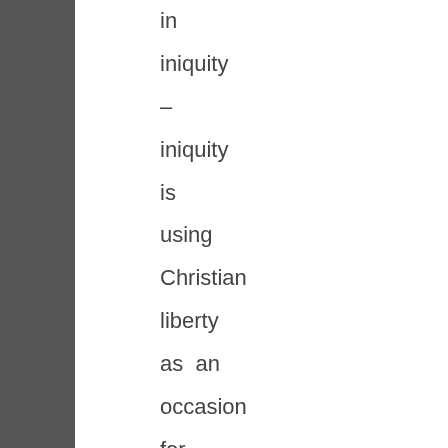in iniquity – iniquity is using Christian liberty as an occasion for the flesh, it is a sin of the self will, so that even good